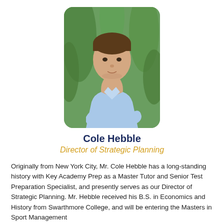[Figure (photo): Professional headshot of Cole Hebble, a young man with dark hair wearing a light blue button-down shirt with arms crossed, standing in front of green tropical plants.]
Cole Hebble
Director of Strategic Planning
Originally from New York City, Mr. Cole Hebble has a long-standing history with Key Academy Prep as a Master Tutor and Senior Test Preparation Specialist, and presently serves as our Director of Strategic Planning. Mr. Hebble received his B.S. in Economics and History from Swarthmore College, and will be entering the Masters in Sport Management